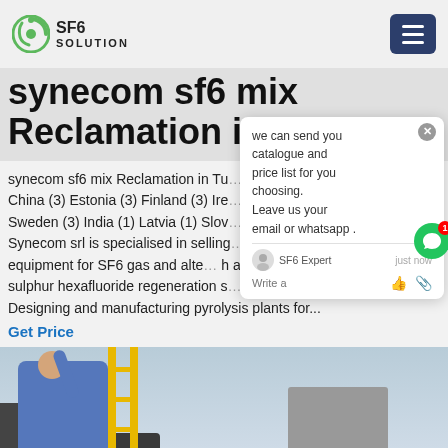SF6 SOLUTION
synecom sf6 mix Reclamation in Tunisia
synecom sf6 mix Reclamation in Tunisia (4) China (3) Estonia (3) Finland (3) Ire... Sweden (3) India (1) Latvia (1) Slov... Synecom srl is specialised in selling equipment for SF6 gas and alte... h a sulphur hexafluoride regeneration s... Designing and manufacturing pyrolysis plants for...
Get Price
[Figure (photo): Worker in blue shirt on a ladder next to yellow scaffolding and electrical equipment outdoors, overcast sky background]
[Figure (other): Chat popup widget: 'we can send you catalogue and price list for you choosing. Leave us your email or whatsapp .' with SF6 Expert agent and just now timestamp, with write / like / attachment icons]